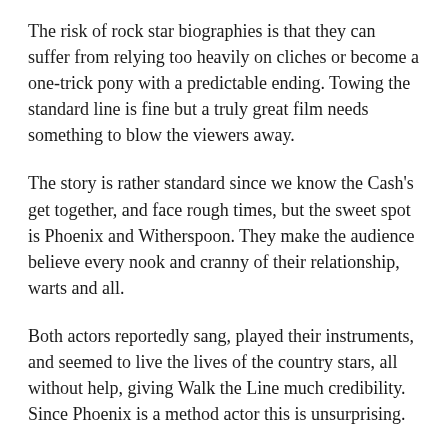The risk of rock star biographies is that they can suffer from relying too heavily on cliches or become a one-trick pony with a predictable ending. Towing the standard line is fine but a truly great film needs something to blow the viewers away.
The story is rather standard since we know the Cash's get together, and face rough times, but the sweet spot is Phoenix and Witherspoon. They make the audience believe every nook and cranny of their relationship, warts and all.
Both actors reportedly sang, played their instruments, and seemed to live the lives of the country stars, all without help, giving Walk the Line much credibility. Since Phoenix is a method actor this is unsurprising.
My only disappointment of the film is Witherspoon winding up with Oscar gold and Phoenix not. Thankfully, this would change with his win for the brutal portrayal of The Joker in